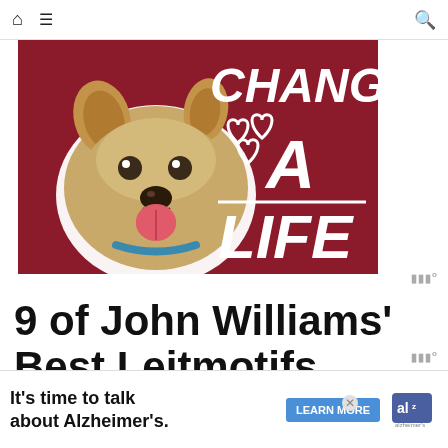🏠 ☰ 🔍
[Figure (illustration): Advertisement banner with a golden/tan dog on a dark red background. Text reads 'CHANGE A LIFE' in bold white letters with white heart outlines.]
9 of John Williams' Best Leitmotifs
"P... ar... W...
It's time to talk about Alzheimer's.
LEARN MORE